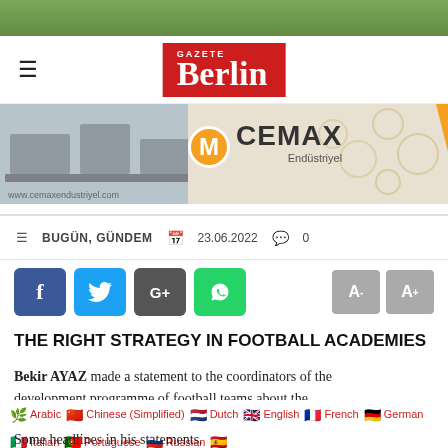[Figure (photo): Green sports field background image strip at top]
Gazete Berlin
[Figure (logo): CEMAX Endüstriyel advertisement banner with orange M circle logo]
≡ BUGÜN, GÜNDEM   23.06.2022   0
[Figure (infographic): Social sharing buttons: Facebook, Twitter, G+, WhatsApp, and font size buttons A- A+]
THE RIGHT STRATEGY IN FOOTBALL ACADEMIES
Bekir AYAZ made a statement to the coordinators of the development programme of football teams about the
Arabic Chinese (Simplified) Dutch English French German Italian Portuguese Russian Spanish Turkish
Some headlines in his statements.